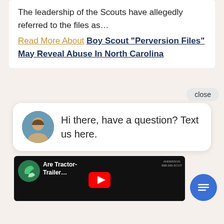The leadership of the Scouts have allegedly referred to the files as…
Read More About Boy Scout "Perversion Files" May Reveal Abuse In North Carolina
close
Hi there, have a question? Text us here.
[Figure (screenshot): YouTube video thumbnail showing 'Are Tractor-Trailer...' with a red play button and green logo]
[Figure (illustration): Blue circular chat icon button with message lines symbol]